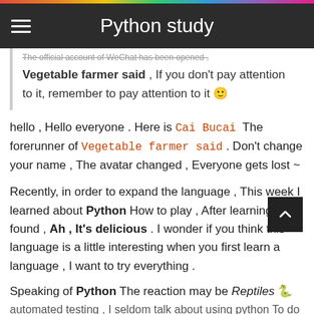Python study
The official account of WeChat has been opened , Vegetable farmer said , If you don't pay attention to it, remember to pay attention to it 🙂
hello , Hello everyone . Here is Cai Bucai The forerunner of Vegetable farmer said . Don't change your name , The avatar changed , Everyone gets lost ~
Recently, in order to expand the language , This week I learned about Python How to play , After learning, I found , Ah , It's delicious . I wonder if you think this language is a little interesting when you first learn a language , I want to try everything .
Speaking of Python The reaction may be Reptiles 🐍 automated testing , I seldom talk about using python To do